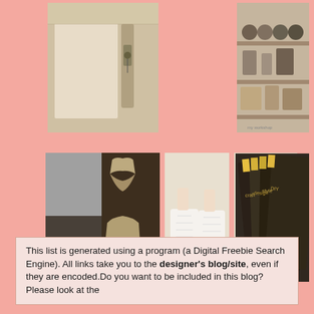[Figure (photo): Photo top left: wall/door hardware detail with metal bracket]
[Figure (photo): Photo top right: craft/art supplies on a shelf or table, paint pots and tools]
[Figure (photo): Photo row 2, position 1: dark patterned wood/fabric with cat silhouette design]
[Figure (photo): Photo row 2, position 2: white sneakers/shoes with laces on wooden surface]
[Figure (photo): Photo row 2, position 3: close-up of white handbag or accessory with gold chain]
[Figure (photo): Photo row 2, position 4: stack of dark product packages/books standing upright]
This list is generated using a program (a Digital Freebie Search Engine). All links take you to the designer's blog/site, even if they are encoded.Do you want to be included in this blog? Please look at the